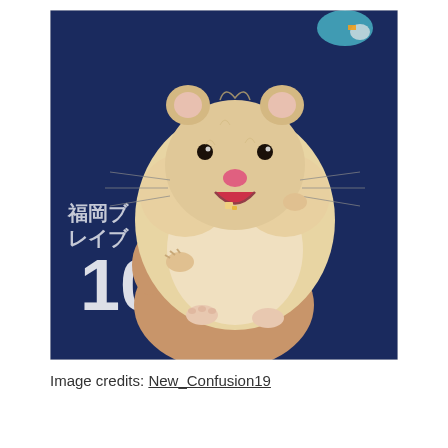[Figure (photo): A chubby hamster with its mouth open as if smiling/surprised, being held in a human hand. The background shows a dark navy blue sports jersey with white text and the number 10. The hamster is cream/beige colored with a round, fluffy body and tiny pink feet.]
Image credits: New_Confusion19